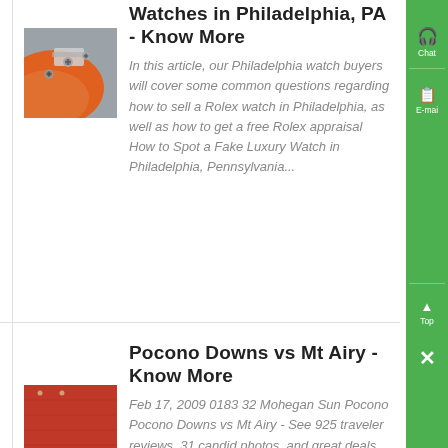Watches in Philadelphia, PA - Know More
[Figure (photo): Close-up photo of watch bolts on orange and grey fabric/material]
In this article, our Philadelphia watch buyers will cover some common questions regarding how to sell a Rolex watch in Philadelphia, as well as how to get a free Rolex appraisal How to Spot a Fake Luxury Watch in Philadelphia, Pennsylvania...
Pocono Downs vs Mt Airy - Know More
[Figure (photo): Close-up photo of red and blue leather or fabric material]
Feb 17, 2009 0183 32 Mohegan Sun Pocono Pocono Downs vs Mt Airy - See 925 traveler reviews, 31 candid photos, and great deals for